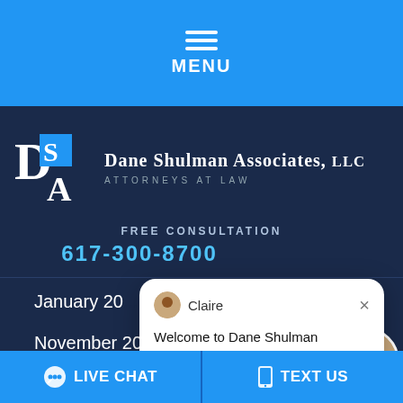[Figure (screenshot): Mobile website screenshot of Dane Shulman Associates LLC law firm with menu bar, logo, chat popup, and live chat/text us buttons]
MENU
[Figure (logo): DSA - Dane Shulman Associates, LLC Attorneys at Law logo]
FREE CONSULTATION
January 20...
December 2013 (14)
November 2013 (14)
Welcome to Dane Shulman Associates, LLC! How can we help you?
LIVE CHAT
TEXT US